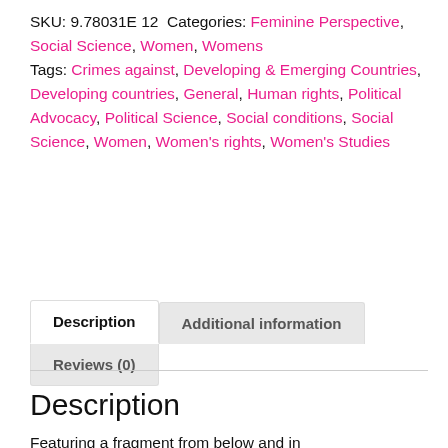SKU: 9.78031E 12 Categories: Feminine Perspective, Social Science, Women, Womens Tags: Crimes against, Developing & Emerging Countries, Developing countries, General, Human rights, Political Advocacy, Political Science, Social conditions, Social Science, Women, Women's rights, Women's Studies
Description | Additional information | Reviews (0)
Description
Featuring a fragment from below and in